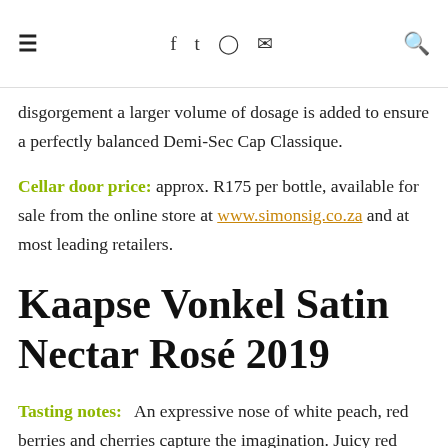≡   f  t  (instagram)  (mail)   Q
disgorgement a larger volume of dosage is added to ensure a perfectly balanced Demi-Sec Cap Classique.
Cellar door price: approx. R175 per bottle, available for sale from the online store at www.simonsig.co.za and at most leading retailers.
Kaapse Vonkel Satin Nectar Rosé 2019
Tasting notes:  An expressive nose of white peach, red berries and cherries capture the imagination. Juicy red apples, plums and raspberry tart flavours add complexity to the subtly sweet palate. A perfectly balanced Demi-Sec with fresh acidity and